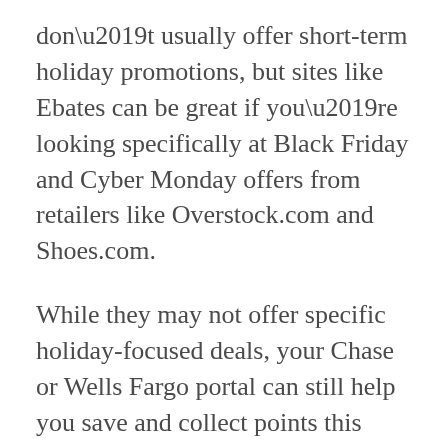don't usually offer short-term holiday promotions, but sites like Ebates can be great if you're looking specifically at Black Friday and Cyber Monday offers from retailers like Overstock.com and Shoes.com.
While they may not offer specific holiday-focused deals, your Chase or Wells Fargo portal can still help you save and collect points this season.
“These cash-back deals are in addition to any promo the retailer is offering,” Rossman says. “So if Macy’s has a 30 percent off one-day sale, you can do that and you can get 6 percent extra from Chase. So you can really stack these discounts,